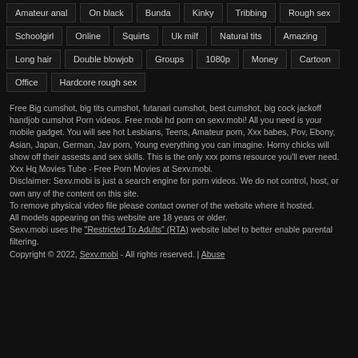Amateur anal | On black | Bunda | Kinky | Tribbing | Rough sex
Schoolgirl | Online | Squirts | Uk milf | Natural tits | Amazing
Long hair | Double blowjob | Groups | 1080p | Money | Cartoon
Office | Hardcore rough sex
Free Big cumshot, big tits cumshot, futanari cumshot, best cumshot, big cock jackoff handjob cumshot Porn videos. Free mobi hd porn on sexv.mobi! All you need is your mobile gadget. You will see hot Lesbians, Teens, Amateur porn, Xxx babes, Pov, Ebony, Asian, Japan, German, Jav porn, Young everything you can imagine. Horny chicks will show off their assests and sex skills. This is the only xxx porns resource you'll ever need. Xxx Hq Movies Tube - Free Porn Movies at Sexv.mobi.
Disclaimer: Sexv.mobi is just a search engine for porn videos. We do not control, host, or own any of the content on this site.
To remove physical video file please contact owner of the website where it hosted.
All models appearing on this website are 18 years or older.
Sexv.mobi uses the "Restricted To Adults" (RTA) website label to better enable parental filtering.
Copyright © 2022, Sexv.mobi - All rights reserved. | Abuse